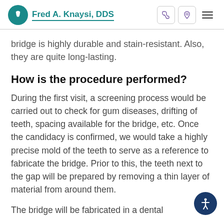Fred A. Knaysi, DDS
bridge is highly durable and stain-resistant. Also, they are quite long-lasting.
How is the procedure performed?
During the first visit, a screening process would be carried out to check for gum diseases, drifting of teeth, spacing available for the bridge, etc. Once the candidacy is confirmed, we would take a highly precise mold of the teeth to serve as a reference to fabricate the bridge. Prior to this, the teeth next to the gap will be prepared by removing a thin layer of material from around them.
The bridge will be fabricated in a dental